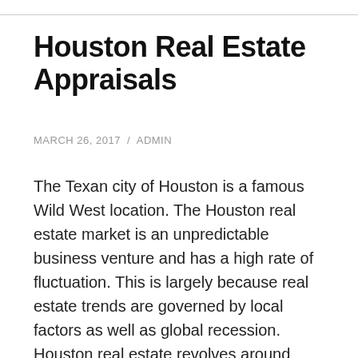Houston Real Estate Appraisals
MARCH 26, 2017  /  ADMIN
The Texan city of Houston is a famous Wild West location. The Houston real estate market is an unpredictable business venture and has a high rate of fluctuation. This is largely because real estate trends are governed by local factors as well as global recession. Houston real estate revolves around residential and commercial property. Residential properties have revenue generation potential and are therefore considered investment property. Real estate also covers fixtures, built up and natural resources found with the